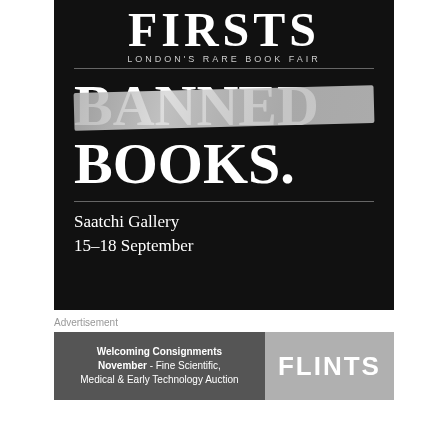[Figure (illustration): FIRSTS London's Rare Book Fair advertisement on black background. Large white serif text reads 'FIRSTS' at top, subtitle 'LONDON'S RARE BOOK FAIR', then 'BANNED BOOKS.' with a tape strip over 'BANNED', followed by 'Saatchi Gallery / 15–18 September']
Advertisement
[Figure (illustration): FLINTS auction house advertisement. Dark grey left panel: 'Welcoming Consignments November - Fine Scientific, Medical & Early Technology Auction'. Light grey right panel with 'FLINTS' logo.]